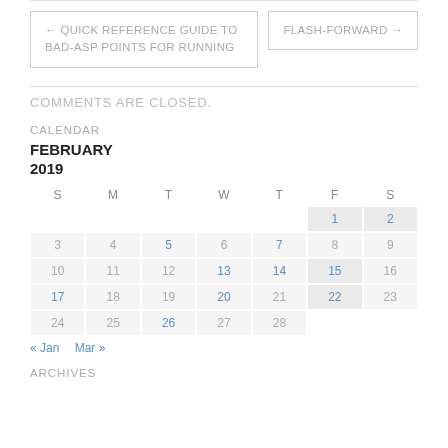← QUICK REFERENCE GUIDE TO BAD-ASP POINTS FOR RUNNING
FLASH-FORWARD →
COMMENTS ARE CLOSED.
CALENDAR
FEBRUARY 2019
| S | M | T | W | T | F | S |
| --- | --- | --- | --- | --- | --- | --- |
|  |  |  |  |  | 1 | 2 |
| 3 | 4 | 5 | 6 | 7 | 8 | 9 |
| 10 | 11 | 12 | 13 | 14 | 15 | 16 |
| 17 | 18 | 19 | 20 | 21 | 22 | 23 |
| 24 | 25 | 26 | 27 | 28 |  |  |
« Jan   Mar »
ARCHIVES